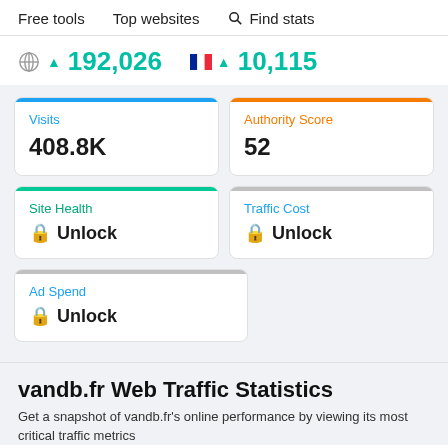Free tools   Top websites   🔍 Find stats
🌐 ▲ 192,026   🇫🇷 ▲ 10,115
Visits 408.8K
Authority Score 52
Site Health 🔒 Unlock
Traffic Cost 🔒 Unlock
Ad Spend 🔒 Unlock
vandb.fr Web Traffic Statistics
Get a snapshot of vandb.fr's online performance by viewing its most critical traffic metrics